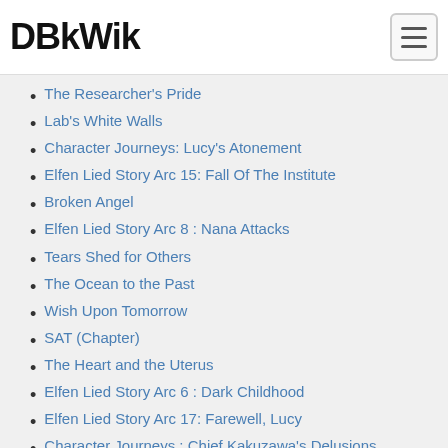DBkWik
The Researcher's Pride
Lab's White Walls
Character Journeys: Lucy's Atonement
Elfen Lied Story Arc 15: Fall Of The Institute
Broken Angel
Elfen Lied Story Arc 8 : Nana Attacks
Tears Shed for Others
The Ocean to the Past
Wish Upon Tomorrow
SAT (Chapter)
The Heart and the Uterus
Elfen Lied Story Arc 6 : Dark Childhood
Elfen Lied Story Arc 17: Farewell, Lucy
Character Journeys : Chief Kakuzawa's Delusions
Lack of Communication
Girl's Fun
Elfen Lied Story Arc 10 : The Ruin Of Kurama